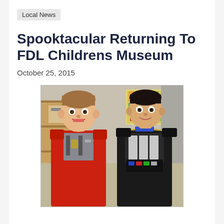Local News
Spooktacular Returning To FDL Childrens Museum
October 25, 2015
[Figure (photo): Two boys in Halloween costumes smiling at the camera. Left boy wears a red and silver transformer/robot costume. Right boy wears a black Darth Vader costume with silver chain detail. Background shows a children's museum interior with colorful artwork and wooden shelving.]